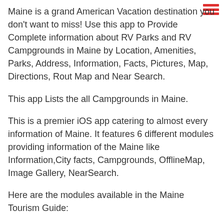Maine is a grand American Vacation destination you don't want to miss! Use this app to Provide Complete information about RV Parks and RV Campgrounds in Maine by Location, Amenities, Parks, Address, Information, Facts, Pictures, Map, Directions, Rout Map and Near Search.
This app Lists the all Campgrounds in Maine.
This is a premier iOS app catering to almost every information of Maine. It features 6 different modules providing information of the Maine like Information,City facts, Campgrounds, OfflineMap, Image Gallery, NearSearch.
Here are the modules available in the Maine Tourism Guide:
1. General Information :
√ Get the Basic Info about the Maine.
√ Information to know how to reach via various means to the